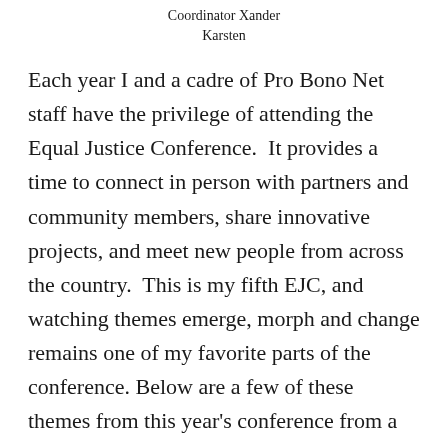Coordinator Xander Karsten
Each year I and a cadre of Pro Bono Net staff have the privilege of attending the Equal Justice Conference.  It provides a time to connect in person with partners and community members, share innovative projects, and meet new people from across the country.  This is my fifth EJC, and watching themes emerge, morph and change remains one of my favorite parts of the conference.  Below are a few of these themes from this year's conference from a technology minded perspective.